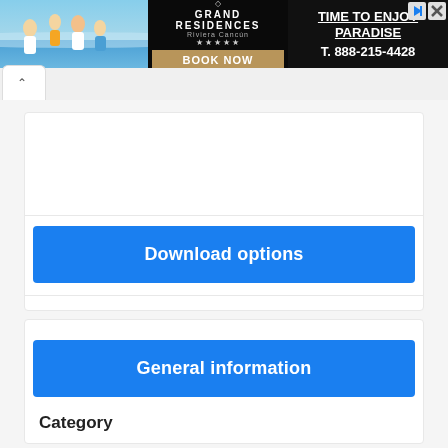[Figure (screenshot): Grand Residences Riviera Cancun hotel advertisement banner with beach photo, logo, 'TIME TO ENJOY PARADISE' headline, BOOK NOW button, and phone number T. 888-215-4428]
^
Download options
General information
Category